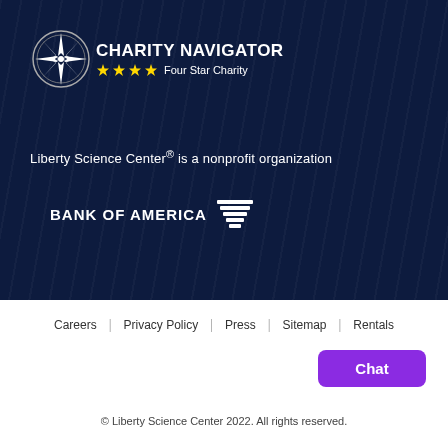[Figure (logo): Charity Navigator Four Star Charity logo with compass rose and gold stars]
Liberty Science Center® is a nonprofit organization
[Figure (logo): Bank of America logo with flag/stripe icon]
Careers | Privacy Policy | Press | Sitemap | Rentals
Chat
© Liberty Science Center 2022. All rights reserved.